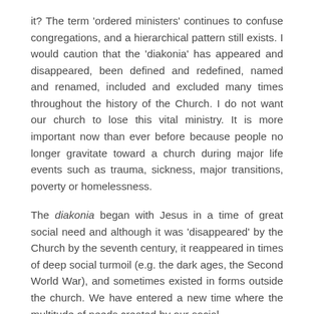it? The term 'ordered ministers' continues to confuse congregations, and a hierarchical pattern still exists. I would caution that the 'diakonia' has appeared and disappeared, been defined and redefined, named and renamed, included and excluded many times throughout the history of the Church. I do not want our church to lose this vital ministry. It is more important now than ever before because people no longer gravitate toward a church during major life events such as trauma, sickness, major transitions, poverty or homelessness.
The diakonia began with Jesus in a time of great social need and although it was 'disappeared' by the Church by the seventh century, it reappeared in times of deep social turmoil (e.g. the dark ages, the Second World War), and sometimes existed in forms outside the church. We have entered a new time where the multitude of needs created by our social ...